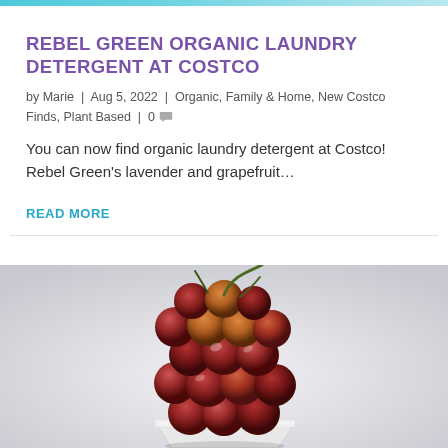REBEL GREEN ORGANIC LAUNDRY DETERGENT AT COSTCO
by Marie | Aug 5, 2022 | Organic, Family & Home, New Costco Finds, Plant Based | 0
You can now find organic laundry detergent at Costco! Rebel Green's lavender and grapefruit...
READ MORE
[Figure (photo): A white bowl filled with red/purple grapes on a light background]